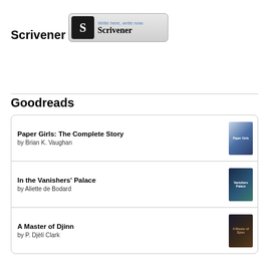Scrivener
[Figure (logo): Scrivener app badge with logo and tagline 'Write here, write now. Scrivener']
Goodreads
Paper Girls: The Complete Story
by Brian K. Vaughan
In the Vanishers' Palace
by Aliette de Bodard
A Master of Djinn
by P. Djèlí Clark